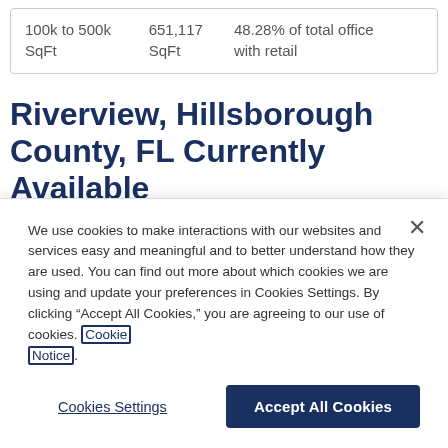| 100k to 500k SqFt | 651,117 SqFt | 48.28% of total office with retail |
Riverview, Hillsborough County, FL Currently Available Listings & Spaces
We use cookies to make interactions with our websites and services easy and meaningful and to better understand how they are used. You can find out more about which cookies we are using and update your preferences in Cookies Settings. By clicking “Accept All Cookies,” you are agreeing to our use of cookies. Cookie Notice.